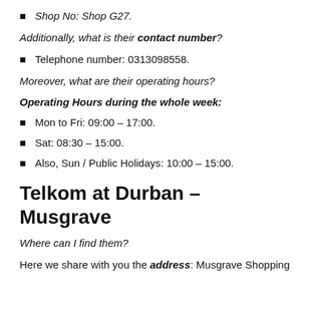Shop No: Shop G27.
Additionally, what is their contact number?
Telephone number: 0313098558.
Moreover, what are their operating hours?
Operating Hours during the whole week:
Mon to Fri: 09:00 – 17:00.
Sat: 08:30 – 15:00.
Also, Sun / Public Holidays: 10:00 – 15:00.
Telkom at Durban – Musgrave
Where can I find them?
Here we share with you the address: Musgrave Shopping